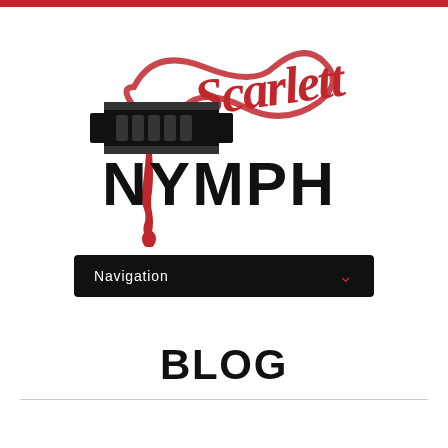[Figure (logo): Scarlett Nymph logo: a black razor blade graphic with red scripted 'Scarlett' text above and large bold black 'NYMPH' text below, with red dripping blood effect]
[Figure (other): Navigation dropdown button with black background, white 'Navigation' text, and red chevron down arrow]
BLOG